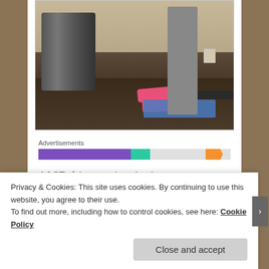[Figure (photo): Photo of a home gym interior showing dumbbell rack with various weights, a pink exercise ball, pink weight plates on the floor, a barbell on the floor, blue yoga mat, and gym equipment against a beige wall with dark wood flooring.]
Advertisements
A LOT of time went into planning a summer camp for teenage girls from our church.  It was time-consuming, but also fun and rewarding...and the girls will probably always
Privacy & Cookies: This site uses cookies. By continuing to use this website, you agree to their use.
To find out more, including how to control cookies, see here: Cookie Policy